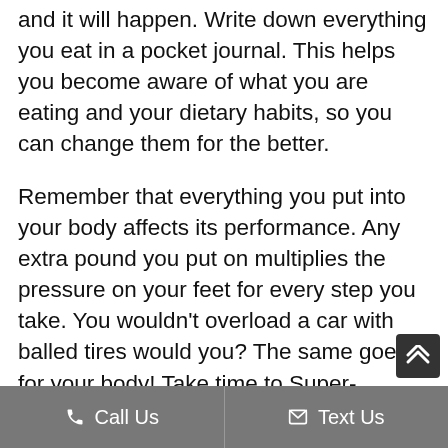and it will happen. Write down everything you eat in a pocket journal. This helps you become aware of what you are eating and your dietary habits, so you can change them for the better.
Remember that everything you put into your body affects its performance. Any extra pound you put on multiplies the pressure on your feet for every step you take. You wouldn't overload a car with balled tires would you? The same goes for your body! Take time to Super-Hydrate with Water to rev up your metabolism and activate the fat-burning lipase enzyme. Eat Vegetables and Lean Animal Protein to build up muscles. Reduce Processed Sugar to store less fat and toxins. Increase Natural Fat to burn more fat. Supplement your body with vitamins and minerals daily for sufficient
Call Us   Text Us